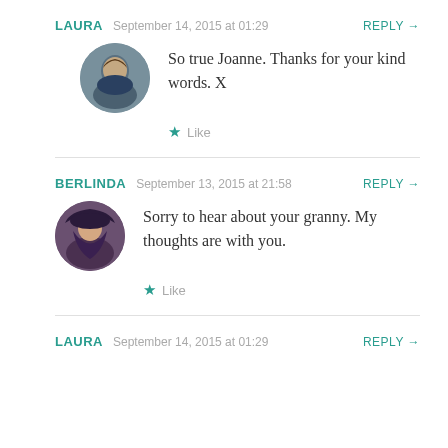LAURA  September 14, 2015 at 01:29  REPLY →
[Figure (photo): Circular avatar photo of a woman with curly brown hair wearing a dark top]
So true Joanne. Thanks for your kind words. X
★ Like
BERLINDA  September 13, 2015 at 21:58  REPLY →
[Figure (photo): Circular avatar photo of a woman with long dark hair wearing a hat]
Sorry to hear about your granny. My thoughts are with you.
★ Like
LAURA  September 14, 2015 at 01:29  REPLY →